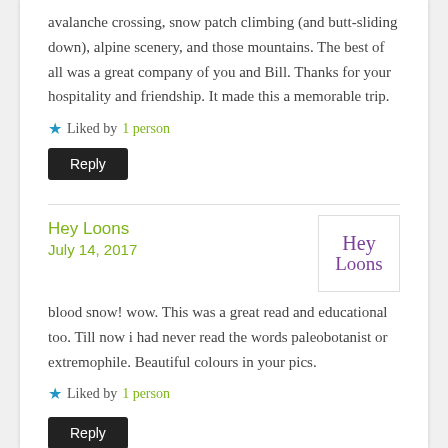avalanche crossing, snow patch climbing (and butt-sliding down), alpine scenery, and those mountains. The best of all was a great company of you and Bill. Thanks for your hospitality and friendship. It made this a memorable trip.
★ Liked by 1 person
Reply
Hey Loons
July 14, 2017
blood snow! wow. This was a great read and educational too. Till now i had never read the words paleobotanist or extremophile. Beautiful colours in your pics.
★ Liked by 1 person
Reply